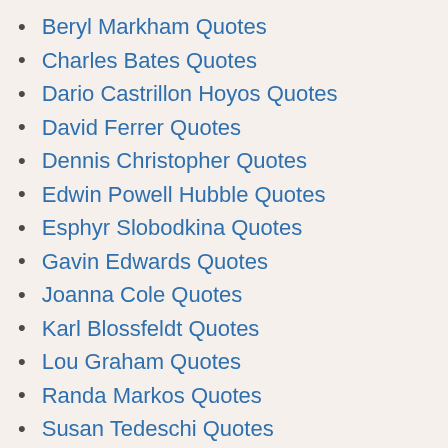Beryl Markham Quotes
Charles Bates Quotes
Dario Castrillon Hoyos Quotes
David Ferrer Quotes
Dennis Christopher Quotes
Edwin Powell Hubble Quotes
Esphyr Slobodkina Quotes
Gavin Edwards Quotes
Joanna Cole Quotes
Karl Blossfeldt Quotes
Lou Graham Quotes
Randa Markos Quotes
Susan Tedeschi Quotes